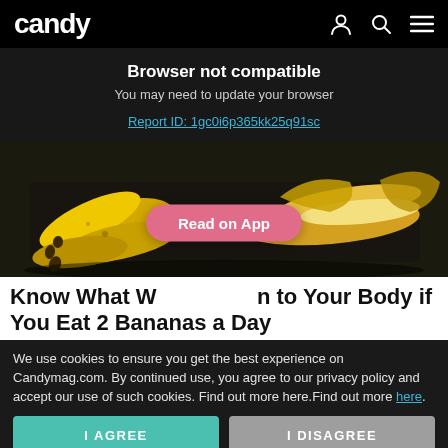candy
Browser not compatible
You may need to update your browser
Report ID: 1gc0i6p365kk25q91sc
[Figure (photo): Photo of bananas on a dark surface, some peeled and some unpeeled, with a pink 'Read on App' button overlay in the center.]
Know What Wh...n to Your Body if You Eat 2 Bananas a Day
We use cookies to ensure you get the best experience on Candymag.com. By continued use, you agree to our privacy policy and accept our use of such cookies. Find out more here.Find out more here.
I AGREE
I DISAGREE